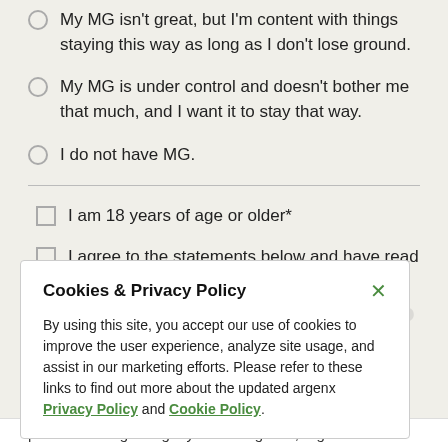My MG isn't great, but I'm content with things staying this way as long as I don't lose ground.
My MG is under control and doesn't bother me that much, and I want it to stay that way.
I do not have MG.
I am 18 years of age or older*
I agree to the statements below and have read and accept the Privacy Policy*
Cookies & Privacy Policy
By using this site, you accept our use of cookies to improve the user experience, analyze site usage, and assist in our marketing efforts. Please refer to these links to find out more about the updated argenx Privacy Policy and Cookie Policy.
promotions regarding myasthenia gravis, argenx